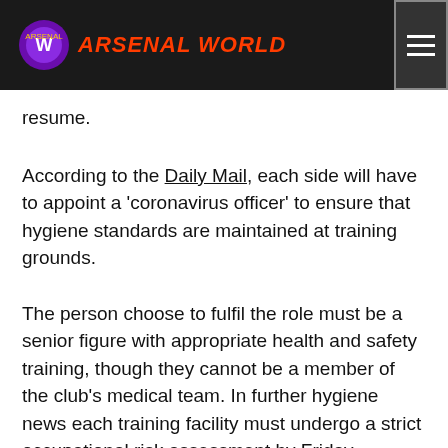ARSENAL WORLD
resume.
According to the Daily Mail, each side will have to appoint a 'coronavirus officer' to ensure that hygiene standards are maintained at training grounds.
The person choose to fulfil the role must be a senior figure with appropriate health and safety training, though they cannot be a member of the club's medical team. In further hygiene news each training facility must undergo a strict occupational risk assessment by Friday.
The police have also said that in order for Project Restart to…